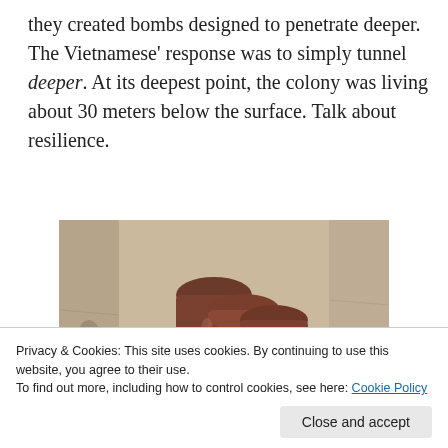they created bombs designed to penetrate deeper. The Vietnamese' response was to simply tunnel deeper. At its deepest point, the colony was living about 30 meters below the surface. Talk about resilience.
[Figure (photo): Close-up photograph of several rusty/corroded cylindrical bomb or shell casings embedded in or lying against a dirt/concrete wall surface.]
Privacy & Cookies: This site uses cookies. By continuing to use this website, you agree to their use. To find out more, including how to control cookies, see here: Cookie Policy